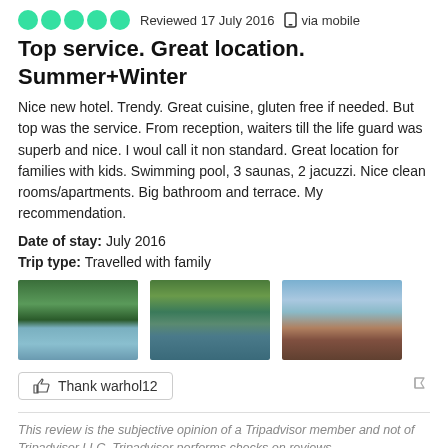[Figure (other): 5 green circle star rating icons followed by 'Reviewed 17 July 2016' and mobile device icon with 'via mobile']
Top service. Great location. Summer+Winter
Nice new hotel. Trendy. Great cuisine, gluten free if needed. But top was the service. From reception, waiters till the life guard was superb and nice. I woul call it non standard. Great location for families with kids. Swimming pool, 3 saunas, 2 jacuzzi. Nice clean rooms/apartments. Big bathroom and terrace. My recommendation.
Date of stay: July 2016
Trip type: Travelled with family
[Figure (photo): Three travel photos side by side: a forest lake reflection, a lake with tree branches overhead, and a mountain landscape with hazy blue hills]
Thank warhol12
This review is the subjective opinion of a Tripadvisor member and not of Tripadvisor LLC. Tripadvisor performs checks on reviews.
1DIV
Oradea, Romania